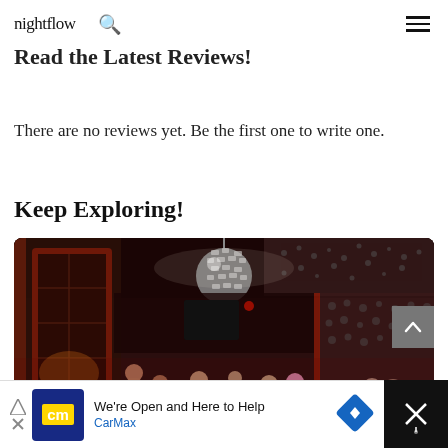nightflow [search icon] [menu icon]
Read the Latest Reviews!
There are no reviews yet. Be the first one to write one.
Keep Exploring!
[Figure (photo): Interior of a nightclub with a disco ball on the ceiling, dark walls with decorative patterned panels, a red-framed door on the left, and people dancing on the dance floor. Pink and white lighting.]
We're Open and Here to Help CarMax